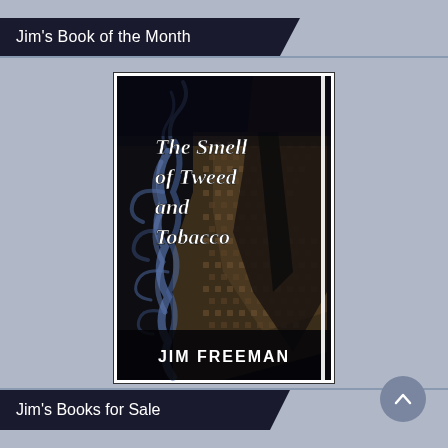Jim's Book of the Month
[Figure (illustration): Book cover for 'The Smell of Tweed and Tobacco' by Jim Freeman. Dark dramatic image showing a man in a tweed jacket and tie with blue smoke curling on the left side. White italic title text reads 'The Smell of Tweed and Tobacco' and bold author name 'JIM FREEMAN' at the bottom.]
Jim's Books for Sale